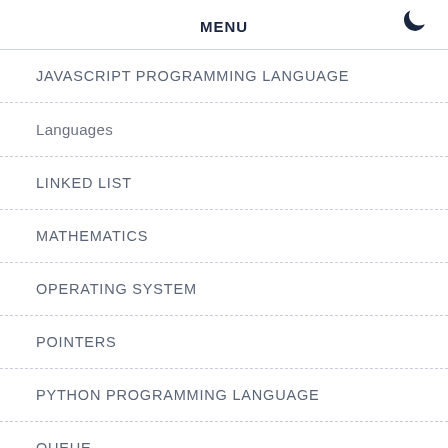MENU
JAVASCRIPT PROGRAMMING LANGUAGE
Languages
LINKED LIST
MATHEMATICS
OPERATING SYSTEM
POINTERS
PYTHON PROGRAMMING LANGUAGE
QUEUE